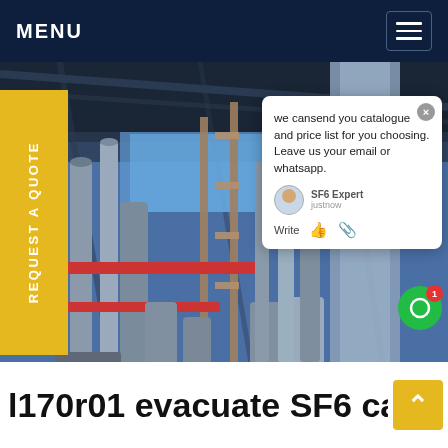MENU
[Figure (photo): Industrial SF6 gas handling equipment — large industrial facility with pipes, scaffolding, cylindrical tanks, and structural steel under a roof, photographed from below at an angle. Outdoor industrial setting with blue sky visible.]
REQUEST A QUOTE
we cansend you catalogue and price list for you choosing. Leave us your email or whatsapp.
SF6 Expert   justnow
Write
l170r01 evacuate SF6 ca